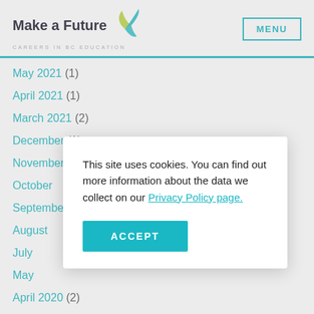[Figure (logo): Make a Future - Careers in BC Education logo with teal and green pinwheel icon]
MENU
May 2021 (1)
April 2021 (1)
March 2021 (2)
December (1)
November
October
September
August
July
May
April 2020 (2)
This site uses cookies. You can find out more information about the data we collect on our Privacy Policy page.
ACCEPT